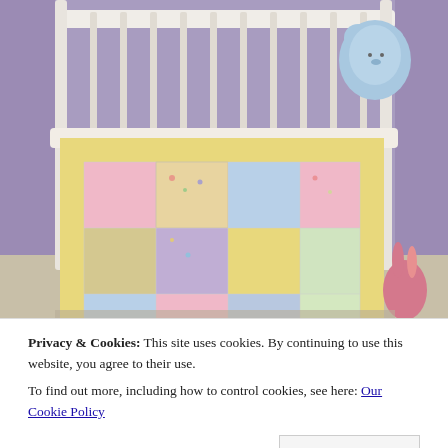[Figure (photo): A colorful patchwork baby quilt with pastel squares (pink, blue, lavender, yellow, and floral print) draped over a white crib railing. A blue stuffed teddy bear sits in the top right corner of the crib. A pink stuffed bunny toy is visible at the bottom right. The room has a purple/lavender wall.]
Privacy & Cookies: This site uses cookies. By continuing to use this website, you agree to their use.
To find out more, including how to control cookies, see here: Our Cookie Policy
Close and accept
[Figure (photo): Partial view of another photo at the bottom of the page showing what appears to be baby items or toys on a surface.]